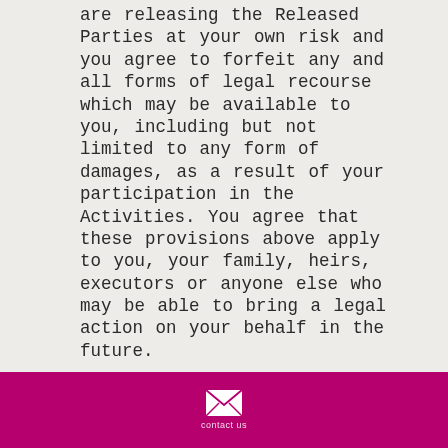are releasing the Released Parties at your own risk and you agree to forfeit any and all forms of legal recourse which may be available to you, including but not limited to any form of damages, as a result of your participation in the Activities. You agree that these provisions above apply to you, your family, heirs, executors or anyone else who may be able to bring a legal action on your behalf in the future.
contact us